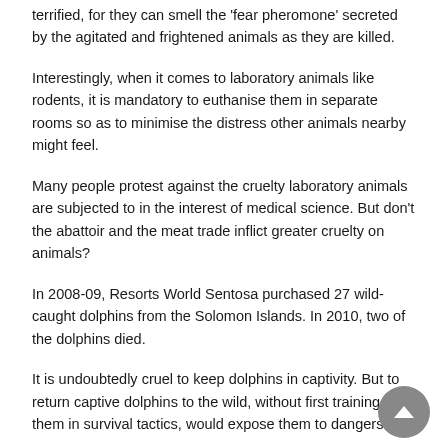terrified, for they can smell the 'fear pheromone' secreted by the agitated and frightened animals as they are killed.
Interestingly, when it comes to laboratory animals like rodents, it is mandatory to euthanise them in separate rooms so as to minimise the distress other animals nearby might feel.
Many people protest against the cruelty laboratory animals are subjected to in the interest of medical science. But don't the abattoir and the meat trade inflict greater cruelty on animals?
In 2008-09, Resorts World Sentosa purchased 27 wild-caught dolphins from the Solomon Islands. In 2010, two of the dolphins died.
It is undoubtedly cruel to keep dolphins in captivity. But to return captive dolphins to the wild, without first training them in survival tactics, would expose them to dangers.
Dolphins in captivity for generations would be...